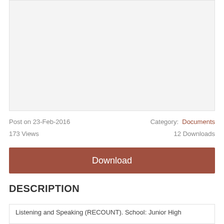[Figure (other): Gray placeholder preview box for a document]
Post on 23-Feb-2016
Category: Documents
173 Views
12 Downloads
Download
DESCRIPTION
Listening and Speaking (RECOUNT). School: Junior High